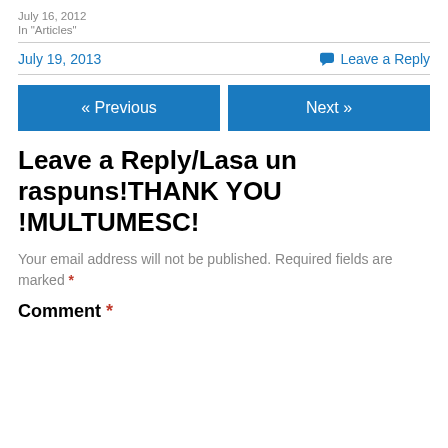July 16, 2012
In "Articles"
July 19, 2013
💬 Leave a Reply
« Previous
Next »
Leave a Reply/Lasa un raspuns!THANK YOU !MULTUMESC!
Your email address will not be published. Required fields are marked *
Comment *